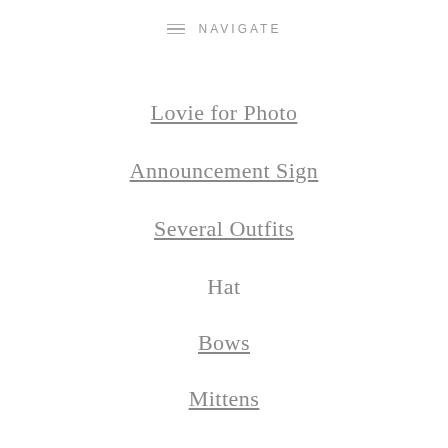NAVIGATE
Lovie for Photo
Announcement Sign
Several Outfits
Hat
Bows
Mittens
Car Seat
Car Seat Cover